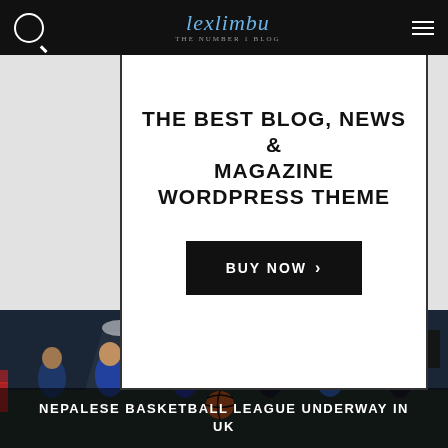lexlimbu — THE NUMBER 1 BLOG
[Figure (screenshot): Advertisement banner: THE BEST BLOG, NEWS & MAGAZINE WORDPRESS THEME with BUY NOW button]
MOST POPULAR
[Figure (photo): Basketball players on an indoor court with navigation arrows]
NEPALESE BASKETBALL LEAGUE UNDERWAY IN UK